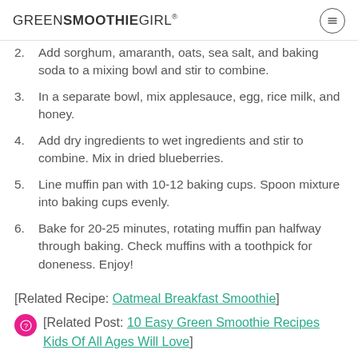GREENSMOOTHIEGIRL®
2. Add sorghum, amaranth, oats, sea salt, and baking soda to a mixing bowl and stir to combine.
3. In a separate bowl, mix applesauce, egg, rice milk, and honey.
4. Add dry ingredients to wet ingredients and stir to combine. Mix in dried blueberries.
5. Line muffin pan with 10-12 baking cups. Spoon mixture into baking cups evenly.
6. Bake for 20-25 minutes, rotating muffin pan halfway through baking. Check muffins with a toothpick for doneness. Enjoy!
[Related Recipe: Oatmeal Breakfast Smoothie]
[Related Post: 10 Easy Green Smoothie Recipes Kids Of All Ages Will Love]